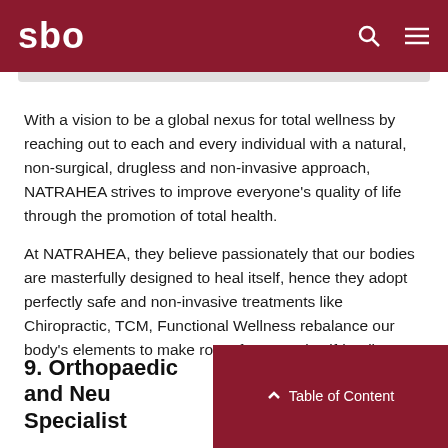sbo
With a vision to be a global nexus for total wellness by reaching out to each and every individual with a natural, non-surgical, drugless and non-invasive approach, NATRAHEA strives to improve everyone's quality of life through the promotion of total health.
At NATRAHEA, they believe passionately that our bodies are masterfully designed to heal itself, hence they adopt perfectly safe and non-invasive treatments like Chiropractic, TCM, Functional Wellness rebalance our body's elements to make room for natural self-healing.
9. Orthopaedic and Neu Specialist